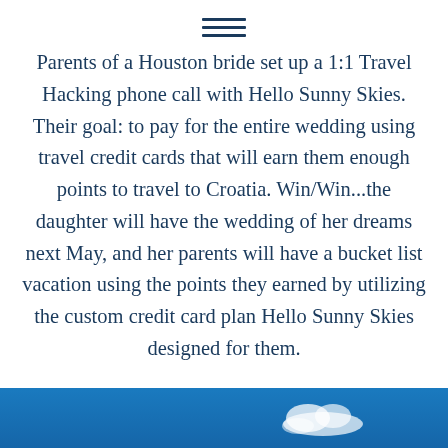[Figure (other): Hamburger menu icon with three horizontal lines]
Parents of a Houston bride set up a 1:1 Travel Hacking phone call with Hello Sunny Skies. Their goal: to pay for the entire wedding using travel credit cards that will earn them enough points to travel to Croatia. Win/Win...the daughter will have the wedding of her dreams next May, and her parents will have a bucket list vacation using the points they earned by utilizing the custom credit card plan Hello Sunny Skies designed for them.
[Figure (photo): Blue sky with clouds photograph at the bottom of the page]